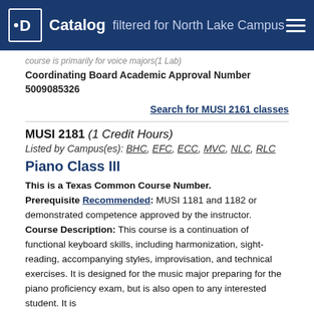Catalog filtered for North Lake Campus
course is primarily for voice majors(1 Lab)
Coordinating Board Academic Approval Number 5009085326
Search for MUSI 2161 classes
MUSI 2181 (1 Credit Hours)
Listed by Campus(es): BHC, EFC, ECC, MVC, NLC, RLC
Piano Class III
This is a Texas Common Course Number. Prerequisite Recommended: MUSI 1181 and 1182 or demonstrated competence approved by the instructor. Course Description: This course is a continuation of functional keyboard skills, including harmonization, sight-reading, accompanying styles, improvisation, and technical exercises. It is designed for the music major preparing for the piano proficiency exam, but is also open to any interested student. It is